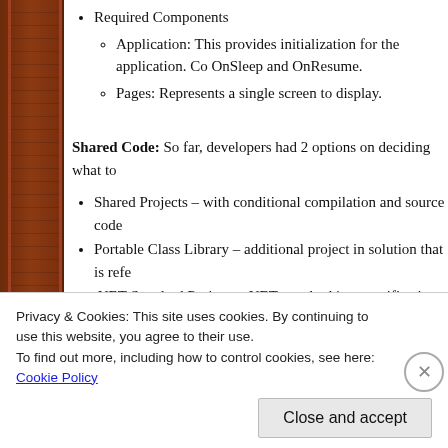Required Components
Application: This provides initialization for the application. Co… OnSleep and OnResume.
Pages: Represents a single screen to display.
Shared Code: So far, developers had 2 options on deciding what to…
Shared Projects – with conditional compilation and source code…
Portable Class Library – additional project in solution that is refe…
.NET Standard Project – .NET standard is a specification of .NET… on all .NET implementations (including Xamarin platform project… similar to PCL, but it's easier to use and has more classes availa…
Privacy & Cookies: This site uses cookies. By continuing to use this website, you agree to their use.
To find out more, including how to control cookies, see here: Cookie Policy
Close and accept